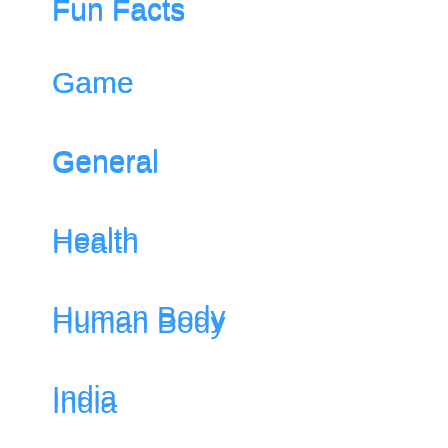Fun Facts
Game
General
Health
Human Body
India
India States
Insects
Medical
Mobile
Movies
Music
Nature
Pet